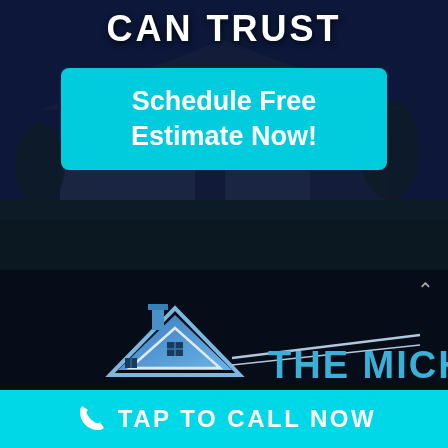CAN TRUST
Schedule Free Estimate Now!
[Figure (logo): The Micham company logo showing a blue house/rooftop icon with chimney and window, alongside the text THE MICHAM in blue letters, on a dark background]
TAP TO CALL NOW